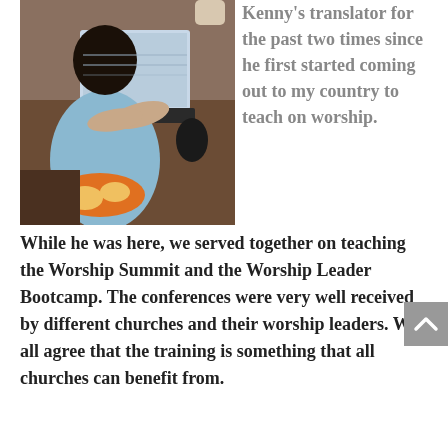[Figure (photo): A person sitting at a table using a laptop computer, viewed from behind/side. The person is wearing a light blue outfit. The setting appears to be indoors with wooden furniture.]
Kenny's translator for the past two times since he first started coming out to my country to teach on worship.
While he was here, we served together on teaching the Worship Summit and the Worship Leader Bootcamp. The conferences were very well received by different churches and their worship leaders. We all agree that the training is something that all churches can benefit from.